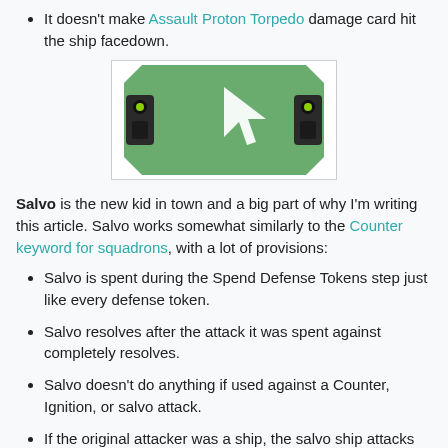It doesn't make Assault Proton Torpedo damage card hit the ship facedown.
[Figure (illustration): Green salvo token card with a white arrow/cursor icon and mechanical flanking elements on a white background]
Salvo is the new kid in town and a big part of why I'm writing this article. Salvo works somewhat similarly to the Counter keyword for squadrons, with a lot of provisions:
Salvo is spent during the Spend Defense Tokens step just like every defense token.
Salvo resolves after the attack it was spent against completely resolves.
Salvo doesn't do anything if used against a Counter, Ignition, or salvo attack.
If the original attacker was a ship, the salvo ship attacks using its printed rear battery armament. If the original attacker was a squadron, the salvo ship attacks using its anti-squadron (flak) armament.